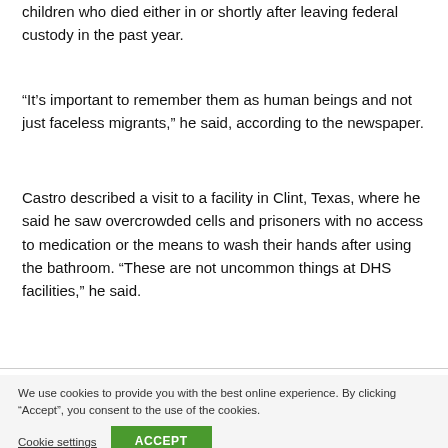children who died either in or shortly after leaving federal custody in the past year.
“It’s important to remember them as human beings and not just faceless migrants,” he said, according to the newspaper.
Castro described a visit to a facility in Clint, Texas, where he said he saw overcrowded cells and prisoners with no access to medication or the means to wash their hands after using the bathroom. “These are not uncommon things at DHS facilities,” he said.
We use cookies to provide you with the best online experience. By clicking "Accept", you consent to the use of the cookies.
Cookie settings
ACCEPT